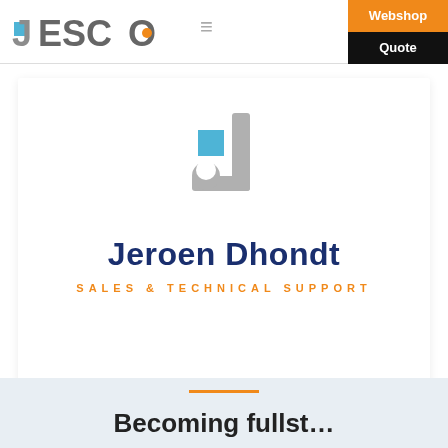[Figure (logo): JESCO logo with blue square and orange dot]
≡
Webshop
Quote
[Figure (logo): Large JESCO J logo mark in gray with blue square]
Jeroen Dhondt
SALES & TECHNICAL SUPPORT
Becoming fully…